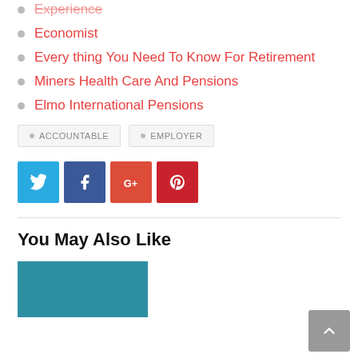Experience
Economist
Every thing You Need To Know For Retirement
Miners Health Care And Pensions
Elmo International Pensions
ACCOUNTABLE  EMPLOYER
[Figure (infographic): Social share buttons: Twitter (blue), Facebook (dark blue), Google+ (orange-red), Pinterest (red)]
You May Also Like
[Figure (photo): Teal/blue image placeholder at bottom left]